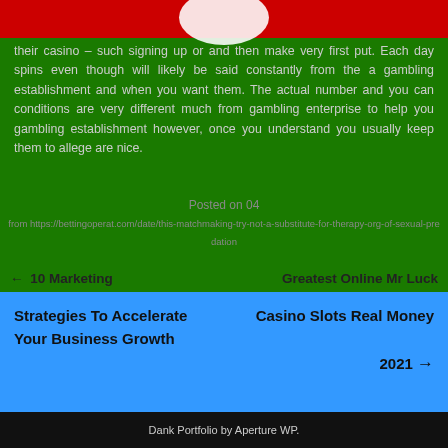their casino – such signing up or and then make very first put. Each day spins even though will likely be said constantly from the a gambling establishment and when you want them. The actual number and you can conditions are very different much from gambling enterprise to help you gambling establishment however, once you understand you usually keep them to allege are nice.
Posted on 04
from https://bettingoperat.com/date/this-matchmaking-try-not-a-substitute-for-therapy-org-of-sexual-predation
← 10 Marketing Strategies To Accelerate Your Business Growth
Greatest Online Mr Luck Casino Slots Real Money 2021 →
Dank Portfolio by Aperture WP.